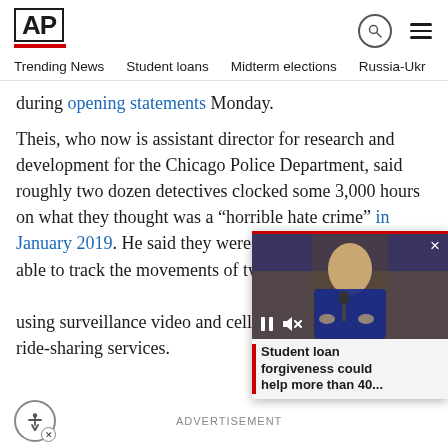AP
Trending News  Student loans  Midterm elections  Russia-Ukr
during opening statements Monday.
Theis, who now is assistant director for research and development for the Chicago Police Department, said roughly two dozen detectives clocked some 3,000 hours on what they thought was a “horrible hate crime” in January 2019. He said they were excited when they were able to track the movements of tw... using surveillance video and cellph... ride-sharing services.
[Figure (screenshot): Video overlay thumbnail showing a person at a podium with video player controls (pause and mute icons) and a close X button.]
Student loan forgiveness could help more than 40...